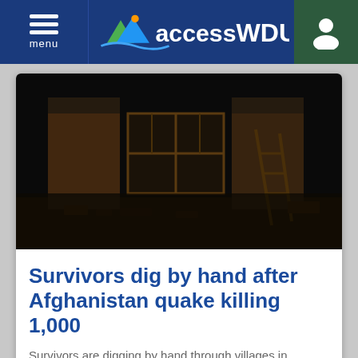menu | accessWDUN
[Figure (photo): Dark photo of a destroyed building interior with rubble and a broken window frame, aftermath of an earthquake in Afghanistan]
Survivors dig by hand after Afghanistan quake killing 1,000
Survivors are digging by hand through villages in eastern Afghanistan reduced to rubble by a powerful earthquake that killed at least 1,000 people
By The Associated Press   4:37AM ( 33 minutes ago )